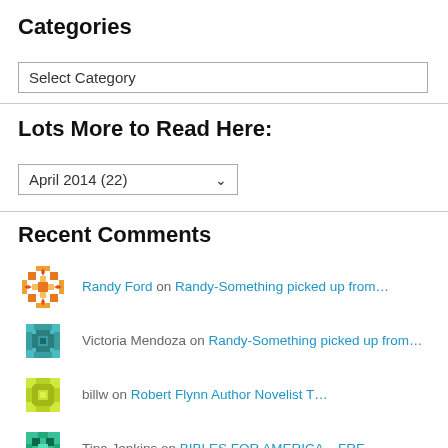Categories
Select Category
Lots More to Read Here:
April 2014  (22)
Recent Comments
Randy Ford on Randy-Something picked up from…
Victoria Mendoza on Randy-Something picked up from…
billw on Robert Flynn Author Novelist T…
Tina Jenkins on BIBLES FOR AMERICA – FRE…
Randy Ford on John Casey & Jon Boyd Auth…